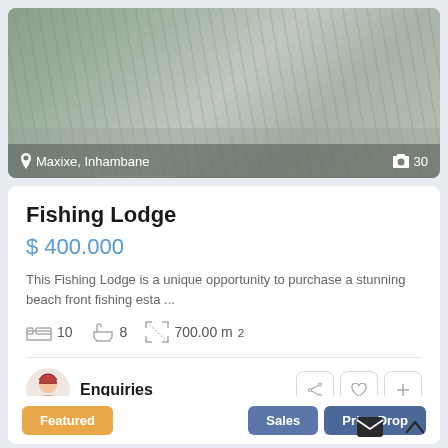[Figure (photo): Aerial or ground-level photo of lush green foliage/vegetation area with location overlay bar showing Maxixe, Inhambane and photo count 30]
Fishing Lodge
$ 400.000
This Fishing Lodge is a unique opportunity to purchase a stunning beach front fishing esta ...
10 bedrooms, 8 bathrooms, 700.00 m²
Enquiries
Featured
Sales
Price Drop